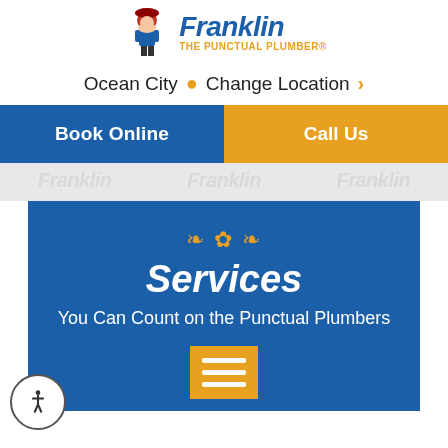[Figure (logo): Franklin The Punctual Plumber logo with mascot character and brand name in blue italic, tagline in gold]
Ocean City  Change Location  >
Book Online
Call Us
Services
You Can Count on the Punctual Plumbers